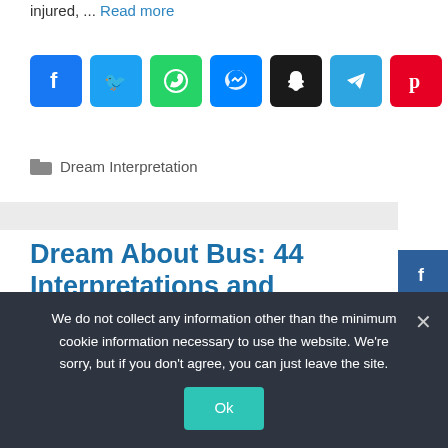injured, ... Read more
[Figure (infographic): Row of social media share icons: Facebook (blue), Twitter (blue), WhatsApp (green), Messenger (blue), Snapchat (black), Telegram (light blue), Pinterest (red)]
Dream Interpretation
Dream About Bus: 44 Interpretations and Meanings
February 20, 2020 by administrator
[Figure (infographic): Vertical side social share bar with Facebook, Twitter, LinkedIn, Pinterest, Reddit buttons]
We do not collect any information other than the minimum cookie information necessary to use the website. We're sorry, but if you don't agree, you can just leave the site.